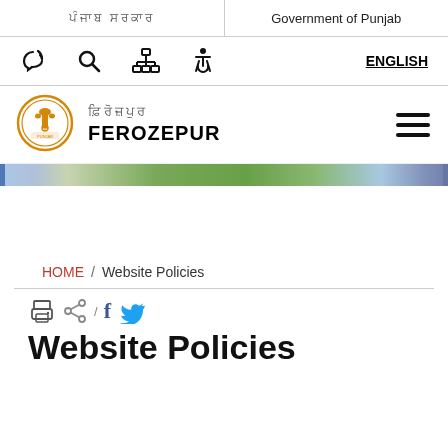ਪੰਜਾਬ ਸਰਕਾਰ / Government of Punjab
[Figure (logo): Government of Punjab emblem/logo with Ashoka Pillar in orange circle]
ਫ਼ਿਰੋਜ਼ਪੁਰ FEROZEPUR
[Figure (photo): Banner strip showing landscape/nature scene]
HOME / Website Policies
Website Policies